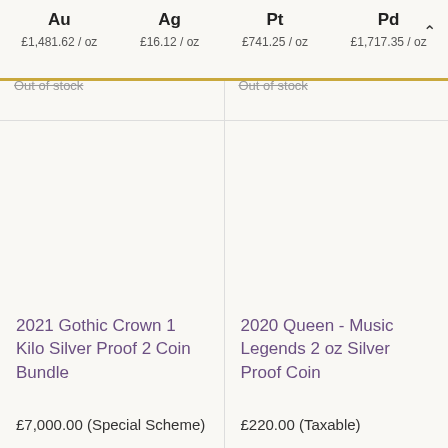Au £1,481.62/oz | Ag £16.12/oz | Pt £741.25/oz | Pd £1,717.35/oz
Out of stock
Out of stock
2021 Gothic Crown 1 Kilo Silver Proof 2 Coin Bundle
£7,000.00 (Special Scheme)
2020 Queen - Music Legends 2 oz Silver Proof Coin
£220.00 (Taxable)